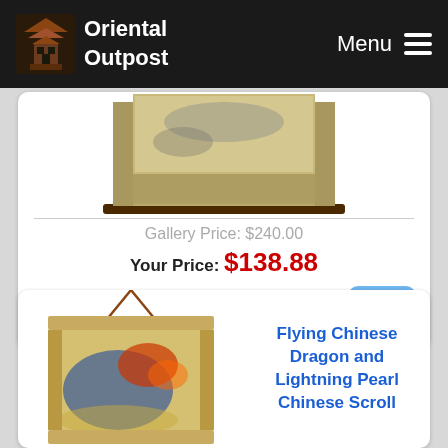Oriental Outpost | Menu
[Figure (photo): Chinese scroll painting showing landscape with mountains/trees, in green/tan silk mounting with dark wooden dowels]
Gallery Price: $240.00
Your Price: $138.88
More Info
[Figure (photo): Chinese scroll painting of a flying dragon with lightning pearl, on yellowish background with swirling fire and waves, hanging by brown cord]
Flying Chinese Dragon and Lightning Pearl Chinese Scroll